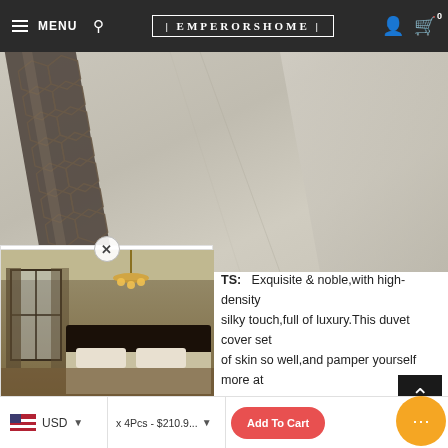[Figure (screenshot): E-commerce website screenshot showing EMPERORSHOME navigation bar, product fabric image, review popup overlay with bedroom thumbnail, and product description text]
MENU  EMPERORSHOME  0
[Figure (photo): Close-up of beige/grey fabric with decorative lace band]
[Figure (photo): Bedroom interior thumbnail showing dark bedroom with chandelier and bed]
Regnfrin
★★★★★
"Such a luxurious feeling! Such a luxuriou..."
Emperorshome - Classic
TS: Exquisite & noble,with high-density silky touch,full of luxury.This duvet cover set of skin so well,and pamper yourself more at
commend hand or machine wash in cold water, dry clean or bleach. Hana-dry or Tumb
USD  x 4Pcs - $210.9...  Add To Cart